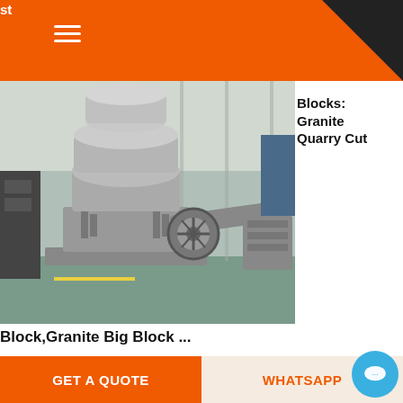st
[Figure (photo): Industrial cone crusher / granite quarry cutting machine in a factory setting. Large grey cone crusher machine with conveyor belt and mechanical components on a factory floor.]
Blocks: Granite Quarry Cut
Block,Granite Big Block ...
Granite Blocks: You Can Find Out Different Kinds Of Granite Blocks with High Quality Products at Low Price, Like Granite Quarry Cut Block,Granite Big Block,Rough Block and So... Stone Blocks. Granite Blocks; Colors. Black Grey Red Wh... Yellow Brown Green Multicolor Pink Beige Lilac Rose Silver Gold